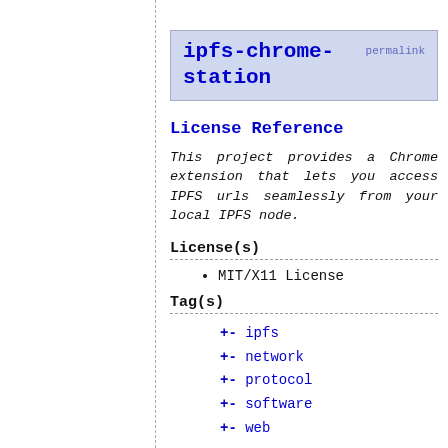ipfs-chrome-station permalink
License Reference
This project provides a Chrome extension that lets you access IPFS urls seamlessly from your local IPFS node.
License(s)
MIT/X11 License
Tag(s)
+- ipfs
+- network
+- protocol
+- software
+- web